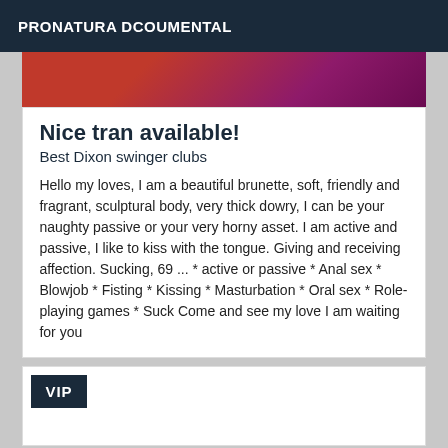PRONATURA DCOUMENTAL
[Figure (photo): Close-up photo with red and magenta/purple tones]
Nice tran available!
Best Dixon swinger clubs
Hello my loves, I am a beautiful brunette, soft, friendly and fragrant, sculptural body, very thick dowry, I can be your naughty passive or your very horny asset. I am active and passive, I like to kiss with the tongue. Giving and receiving affection. Sucking, 69 ... * active or passive * Anal sex * Blowjob * Fisting * Kissing * Masturbation * Oral sex * Role-playing games * Suck Come and see my love I am waiting for you
VIP